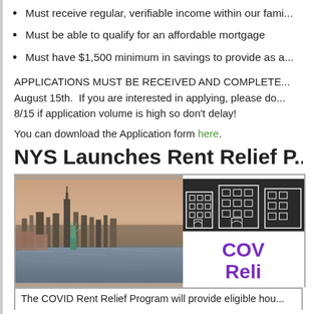Must receive regular, verifiable income within our fami...
Must be able to qualify for an affordable mortgage
Must have $1,500 minimum in savings to provide as a...
APPLICATIONS MUST BE RECEIVED AND COMPLETE... August 15th. If you are interested in applying, please do... 8/15 if application volume is high so don't delay!
You can download the Application form here.
NYS Launches Rent Relief P...
[Figure (photo): New York City skyline with Statue of Liberty in foreground over water, plus an inset graphic showing building illustrations with text 'COV Reli' in purple bold text on white background.]
The COVID Rent Relief Program will provide eligible hou...